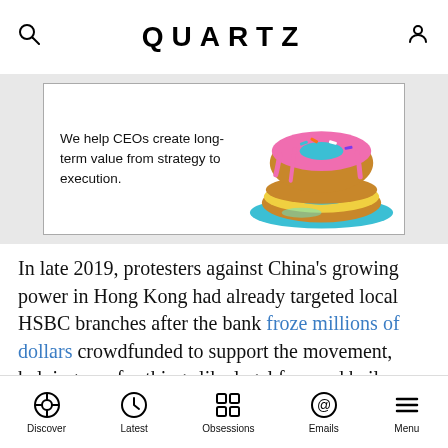QUARTZ
[Figure (photo): Advertisement banner with text 'We help CEOs create long-term value from strategy to execution.' alongside an image of colorful frosted donuts stacked on a blue plate.]
In late 2019, protesters against China’s growing power in Hong Kong had already targeted local HSBC branches after the bank froze millions of dollars crowdfunded to support the movement, helping pay for things like legal fees and bail money. Angered by what they saw as the bank’s cooperation with authorities, they vandalized HSBC ATMs, and set one of the bank’s iconic bronze lion statues in front of its iconic Norman Foster-designed Hong Kong office on fire.
Discover | Latest | Obsessions | Emails | Menu